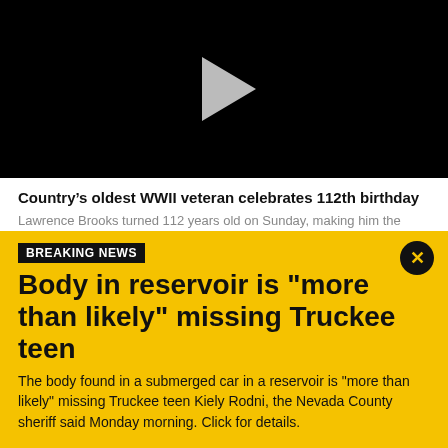[Figure (screenshot): Black video player with gray play button triangle in the center]
Country’s oldest WWII veteran celebrates 112th birthday
Lawrence Brooks turned 112 years old on Sunday, making him the country’s oldest World War II veteran.
Some local teachers even taught a lesson about Cantu and her war experiences, and had their students write
BREAKING NEWS
Body in reservoir is "more than likely" missing Truckee teen
The body found in a submerged car in a reservoir is "more than likely" missing Truckee teen Kiely Rodni, the Nevada County sheriff said Monday morning. Click for details.